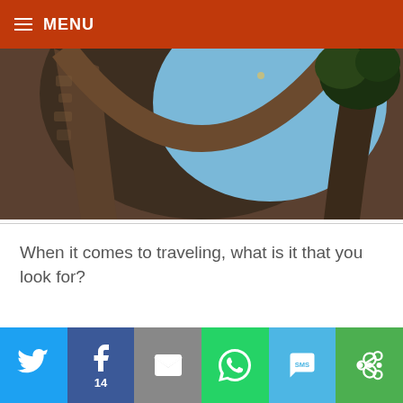MENU
[Figure (photo): Upward view through a stone arch with blue sky and tree visible]
When it comes to traveling, what is it that you look for?
Social sharing bar: Twitter, Facebook (14), Email, WhatsApp, SMS, More